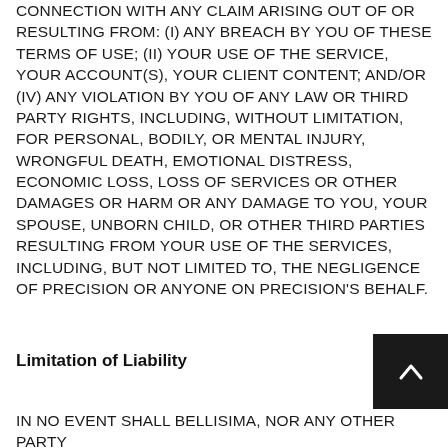CONNECTION WITH ANY CLAIM ARISING OUT OF OR RESULTING FROM: (I) ANY BREACH BY YOU OF THESE TERMS OF USE; (II) YOUR USE OF THE SERVICE, YOUR ACCOUNT(S), YOUR CLIENT CONTENT; AND/OR (IV) ANY VIOLATION BY YOU OF ANY LAW OR THIRD PARTY RIGHTS, INCLUDING, WITHOUT LIMITATION, FOR PERSONAL, BODILY, OR MENTAL INJURY, WRONGFUL DEATH, EMOTIONAL DISTRESS, ECONOMIC LOSS, LOSS OF SERVICES OR OTHER DAMAGES OR HARM OR ANY DAMAGE TO YOU, YOUR SPOUSE, UNBORN CHILD, OR OTHER THIRD PARTIES RESULTING FROM YOUR USE OF THE SERVICES, INCLUDING, BUT NOT LIMITED TO, THE NEGLIGENCE OF PRECISION OR ANYONE ON PRECISION'S BEHALF.
Limitation of Liability
IN NO EVENT SHALL Bellisima, NOR ANY OTHER PARTY